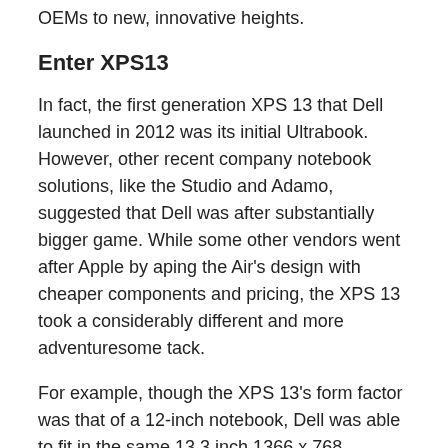OEMs to new, innovative heights.
Enter XPS13
In fact, the first generation XPS 13 that Dell launched in 2012 was its initial Ultrabook. However, other recent company notebook solutions, like the Studio and Adamo, suggested that Dell was after substantially bigger game. While some other vendors went after Apple by aping the Air's design with cheaper components and pricing, the XPS 13 took a considerably different and more adventuresome tack.
For example, though the XPS 13's form factor was that of a 12-inch notebook, Dell was able to fit in the same 13.3 inch 1366 x 768 resolution display that Apple used in its 13-inch Air. Dell's design group also sponsored pioneering carbon fiber development, allowing the XPS 13 to be lighter and run cooler than many competing